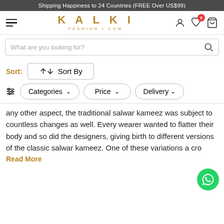Shipping Happiness to 24 Countries (FREE Over US$99)
[Figure (logo): Kalki Fashion.com logo with hamburger menu and nav icons (user, wishlist with badge 0, cart)]
What are you looking for?
Sort: ↕ Sort By
Categories ∨   Price ∨   Delivery ∨
any other aspect, the traditional salwar kameez was subject to countless changes as well. Every wearer wanted to flatter their body and so did the designers, giving birth to different versions of the classic salwar kameez. One of these variations a cro-
Read More
[Figure (other): WhatsApp chat button (green circle with WhatsApp icon) in bottom right corner]